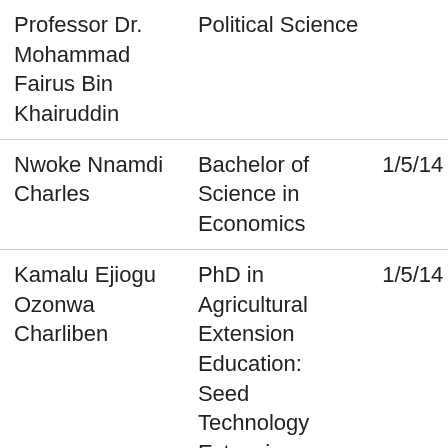| Name | Qualification | Date |
| --- | --- | --- |
| Professor Dr. Mohammad Fairus Bin Khairuddin | Political Science |  |
| Nwoke Nnamdi Charles | Bachelor of Science in Economics | 1/5/14 |
| Kamalu Ejiogu Ozonwa Charliben | PhD in Agricultural Extension Education: Seed Technology Extension Management | 1/5/14 |
| Sanni Rukayat Omolabake | Bachelor of Science in Business Administration | 15/4/1… |
| Aina Joseph Olusola | Master of Science in Management Science with | 15/3/1… |